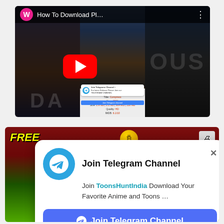[Figure (screenshot): YouTube video thumbnail showing a dark movie poster titled 'How To Download Pl...' with a red YouTube play button in the center, a pink 'W' avatar icon, and a three-dots menu icon. A small release info overlay and Telegram channel popup are visible in the center panel.]
[Figure (screenshot): Telegram channel join popup overlaid on a mobile game app screenshot. The popup shows a Telegram logo icon, title 'Join Telegram Channel' with an X close button, text 'Join ToonsHuntIndia Download Your Favorite Anime and Toons ...' and a blue 'Join Telegram Channel' button.]